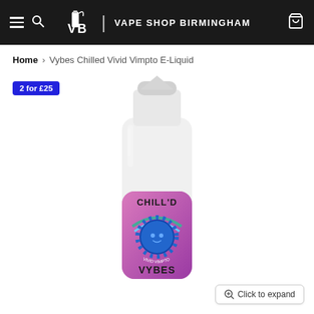Vape Shop Birmingham
Home > Vybes Chilled Vivid Vimpto E-Liquid
2 for £25
[Figure (photo): Product photo of Vybes Chilled Vivid Vimpto E-Liquid 100ml bottle with white cap and pink/purple label featuring a blue sun cartoon character and the words CHILL'D VYBES VIVID VIMPTO]
Click to expand